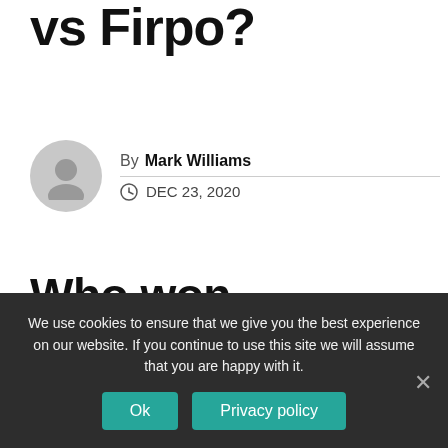vs Firpo?
By Mark Williams
DEC 23, 2020
Who won Dempsey vs Firpo?
But if you keep trying, you can throw in one
We use cookies to ensure that we give you the best experience on our website. If you continue to use this site we will assume that you are happy with it.
Ok
Privacy policy